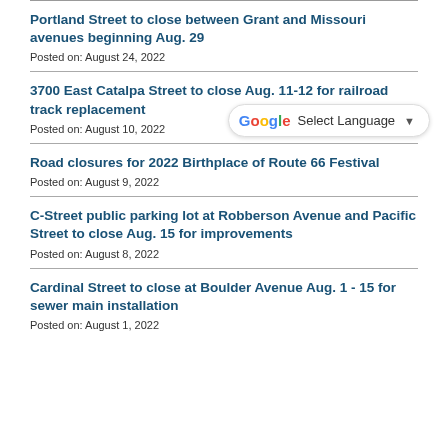Portland Street to close between Grant and Missouri avenues beginning Aug. 29
Posted on: August 24, 2022
3700 East Catalpa Street to close Aug. 11-12 for railroad track replacement
Posted on: August 10, 2022
Road closures for 2022 Birthplace of Route 66 Festival
Posted on: August 9, 2022
C-Street public parking lot at Robberson Avenue and Pacific Street to close Aug. 15 for improvements
Posted on: August 8, 2022
Cardinal Street to close at Boulder Avenue Aug. 1 - 15 for sewer main installation
Posted on: August 1, 2022